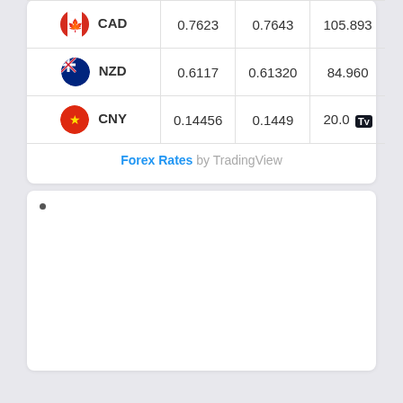| Currency | Bid | Ask | Spread |
| --- | --- | --- | --- |
| CAD | 0.7623 | 0.7643 | 105.893 |
| NZD | 0.6117 | 0.61320 | 84.960 |
| CNY | 0.14456 | 0.1449 | 20.0 |
Forex Rates by TradingView